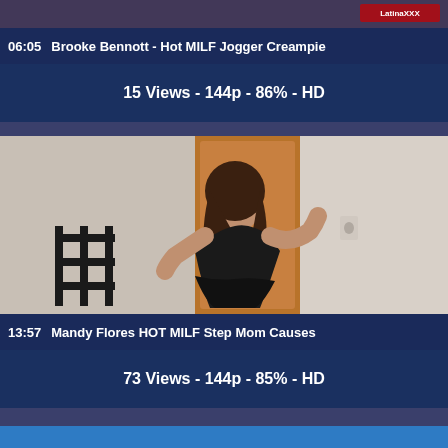[Figure (screenshot): Video thumbnail top strip - partial cropped image]
06:05  Brooke Bennott - Hot MILF Jogger Creampie
15 Views - 144p - 86% - HD
[Figure (photo): Woman in black dress posing against wooden door/wall]
13:57  Mandy Flores HOT MILF Step Mom Causes
73 Views - 144p - 85% - HD
[Figure (screenshot): Partial blue bar at bottom]